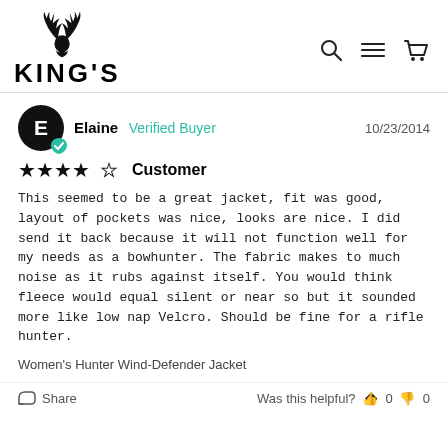[Figure (logo): King's Camo logo with deer antler silhouette above bold text KING'S]
[Figure (other): Navigation icons: search (magnifying glass), hamburger menu, shopping cart]
Elaine  Verified Buyer  10/23/2014
★★★★☆  Customer
This seemed to be a great jacket, fit was good, layout of pockets was nice, looks are nice. I did send it back because it will not function well for my needs as a bowhunter. The fabric makes to much noise as it rubs against itself. You would think fleece would equal silent or near so but it sounded more like low nap Velcro. Should be fine for a rifle hunter.
Women's Hunter Wind-Defender Jacket
Share   Was this helpful?  👍 0  👎 0